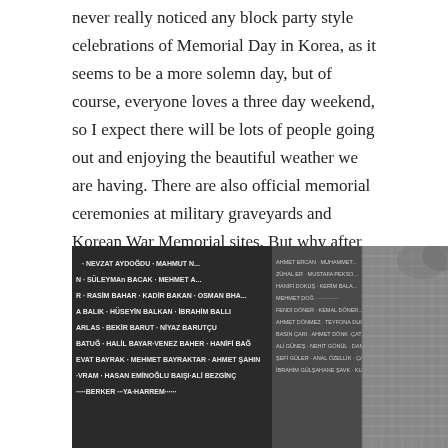never really noticed any block party style celebrations of Memorial Day in Korea, as it seems to be a more solemn day, but of course, everyone loves a three day weekend, so I expect there will be lots of people going out and enjoying the beautiful weather we are having. There are also official memorial ceremonies at military graveyards and Korean War Memorial sites. But why after 6+ years of living in Korea am I just now choosing to write a Memorial Day post?
[Figure (photo): Black and white photograph of a Korean War Memorial wall with names engraved on dark stone panels. The left portion shows close-up names including NEVZAT AYDOGDU, SULEYMAN BACAK, RASIM BAHAR, KADIR BAKAN, A BALIK, HUSEYIN BALKAN, IBRAHIM BALLI, ARLAS, BEKIR BARUT, NIYAZ BARUTCU, BATUG, HALIL BAYAR, and others. The right portion shows the full wall extending into the distance with a grid-like reflective surface, with trees visible in the background.]